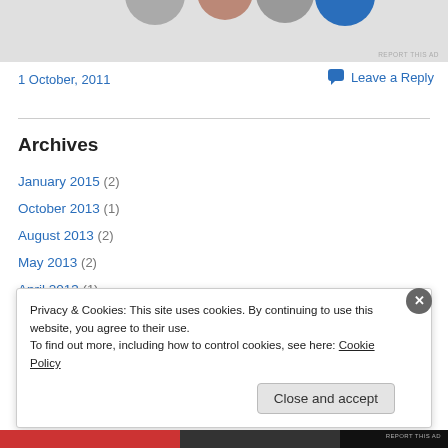[Figure (photo): Top portion showing profile images/avatars cropped at top of page, gray background area]
REPORT THIS AD
1 October, 2011
Leave a Reply
Archives
January 2015 (2)
October 2013 (1)
August 2013 (2)
May 2013 (2)
April 2013 (1)
Privacy & Cookies: This site uses cookies. By continuing to use this website, you agree to their use. To find out more, including how to control cookies, see here: Cookie Policy
Close and accept